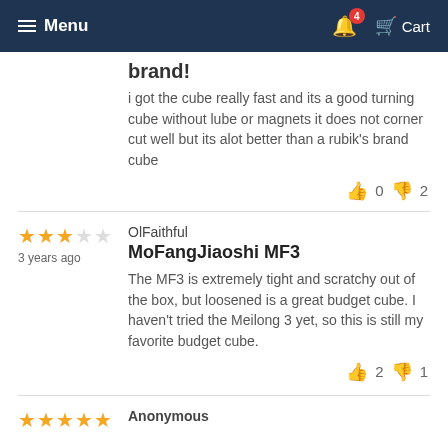Menu | 4 | Cart
brand!
i got the cube really fast and its a good turning cube without lube or magnets it does not corner cut well but its alot better than a rubik's brand cube
thumbs up 0 thumbs down 2
OlFaithful
MoFangJiaoshi MF3
The MF3 is extremely tight and scratchy out of the box, but loosened is a great budget cube. I haven't tried the Meilong 3 yet, so this is still my favorite budget cube.
thumbs up 2 thumbs down 1
Anonymous